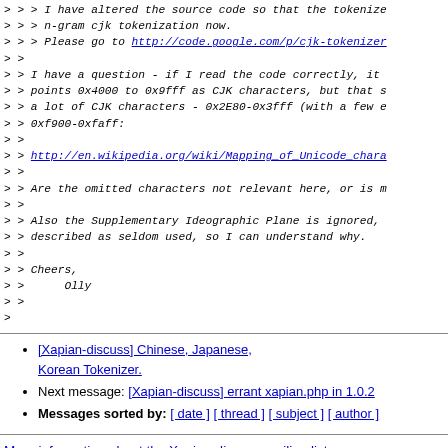> > > I have altered the source code so that the tokenize
> > > n-gram cjk tokenization now.
> > > Please go to http://code.google.com/p/cjk-tokenizer
> >
> > I have a question - if I read the code correctly, it
> > points 0x4000 to 0x9fff as CJK characters, but that s
> > a lot of CJK characters - 0x2E80-0x3fff (with a few e
> > 0xf900-0xfaff:
> >
> > http://en.wikipedia.org/wiki/Mapping_of_Unicode_chara
> >
> > Are the omitted characters not relevant here, or is m
> >
> > Also the Supplementary Ideographic Plane is ignored,
> > described as seldom used, so I can understand why.
> >
> > Cheers,
> >      Olly
> >
>
Previous message: [Xapian-discuss] Chinese, Japanese, Korean Tokenizer.
Next message: [Xapian-discuss] errant xapian.php in 1.0.2
Messages sorted by: [ date ] [ thread ] [ subject ] [ author ]
More information about the Xapian-discuss mailing list